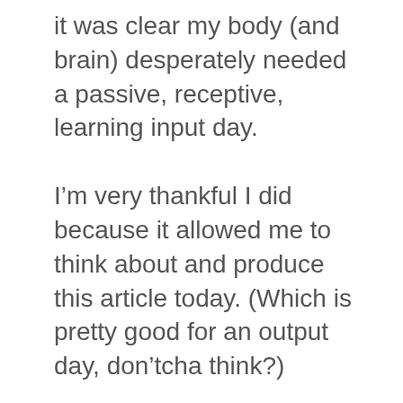it was clear my body (and brain) desperately needed a passive, receptive, learning input day.
I’m very thankful I did because it allowed me to think about and produce this article today. (Which is pretty good for an output day, don’tcha think?)
Do you find you tend to gravitate more towards input days or output days? Which makes you feel more